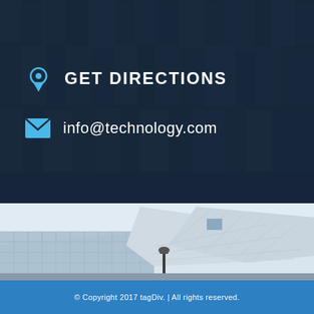[Figure (photo): Aerial view of city skyscrapers with dark blue overlay, serving as background for contact information section]
GET DIRECTIONS
info@technology.com
[Figure (photo): Modern architectural building with angular glass and white panels against a light sky, featuring a street lamp in the foreground]
© Copyright 2017 tagDiv. | All rights reserved.